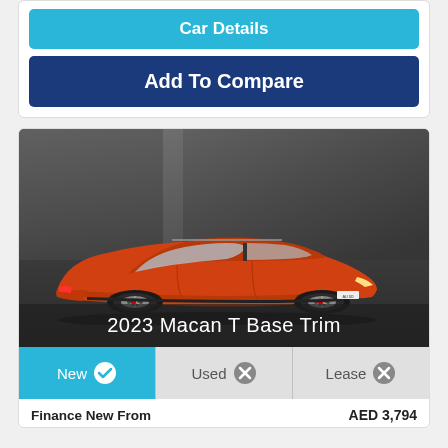Car Details
Add To Compare
[Figure (photo): Orange 2023 Porsche Macan T SUV parked in a dark concrete garage setting, photographed from a front-left angle]
2023 Macan T Base Trim
New ✓  Used ✗  Lease ✗
Finance New From    AED 3,794